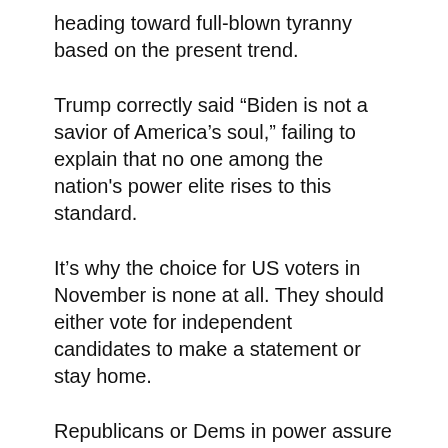heading toward full-blown tyranny based on the present trend.
Trump correctly said “Biden is not a savior of America’s soul,” failing to explain that no one among the nation's power elite rises to this standard.
It’s why the choice for US voters in November is none at all. They should either vote for independent candidates to make a statement or stay home.
Republicans or Dems in power assure same old, same old dirty business as usual continuity like always before.
Like countless other times, Trump defied reality, falsely claiming he’s “done nothing but fight for you (sic)…end(ing) the rule of the failed political class (sic).”